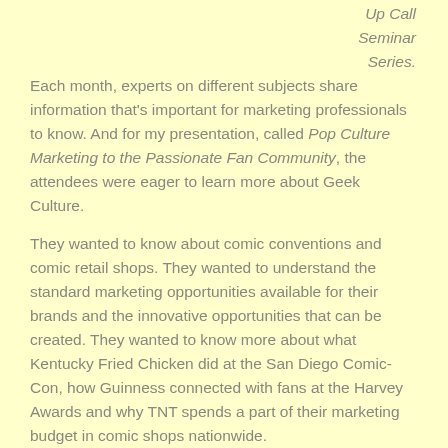Up Call Seminar Series. Each month, experts on different subjects share information that's important for marketing professionals to know. And for my presentation, called Pop Culture Marketing to the Passionate Fan Community, the attendees were eager to learn more about Geek Culture.
They wanted to know about comic conventions and comic retail shops. They wanted to understand the standard marketing opportunities available for their brands and the innovative opportunities that can be created. They wanted to know more about what Kentucky Fried Chicken did at the San Diego Comic-Con, how Guinness connected with fans at the Harvey Awards and why TNT spends a part of their marketing budget in comic shops nationwide.